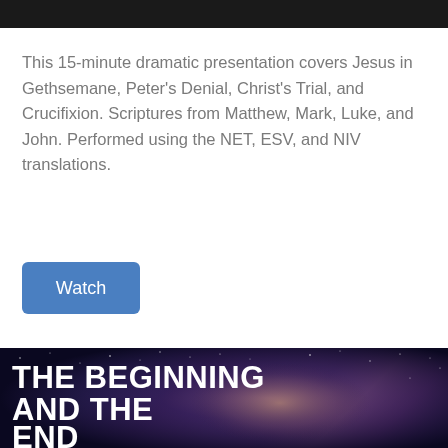[Figure (photo): Dark top image bar, cropped photograph banner at top of page]
This 15-minute dramatic presentation covers Jesus in Gethsemane, Peter's Denial, Christ's Trial, and Crucifixion. Scriptures from Matthew, Mark, Luke, and John. Performed using the NET, ESV, and NIV translations.
[Figure (other): Blue 'Watch' button]
[Figure (photo): Night sky / galaxy image with bold white text reading 'THE BEGINNING AND THE END']